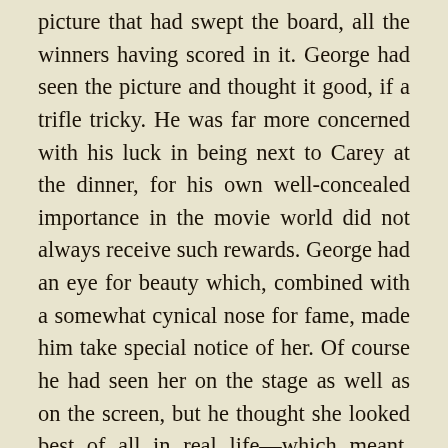picture that had swept the board, all the winners having scored in it. George had seen the picture and thought it good, if a trifle tricky. He was far more concerned with his luck in being next to Carey at the dinner, for his own well-concealed importance in the movie world did not always receive such rewards. George had an eye for beauty which, combined with a somewhat cynical nose for fame, made him take special notice of her. Of course he had seen her on the stage as well as on the screen, but he thought she looked best of all in real life—which meant, even more remarkably, that she looked really alive at a party such as this, not merely brought to life by